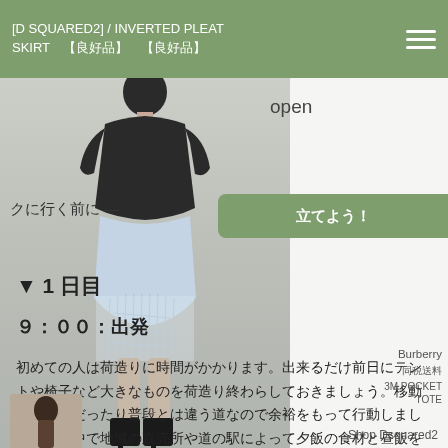[D SQUARED2] / INVERTED PLEAT SKIRT 【良好品】 【良好品】
[Figure (photo): Fashion model wearing a black cropped t-shirt and distressed light-wash denim skirt, photographed from behind. Model wears black high heel boots. Product image for D SQUARED2 inverted pleat skirt.]
open
クに行く前に — 　　　　　　　立てよう！
▼ 1 日目
９：００：出発
初めての人は荷造りに時間がかかります。出来るだけ前日にテントや椅子など大きなものを荷造り終わらしておきましょう。移動には山道だったり普段とは違う道なので余裕をもって行動しましょう。途中で地域の直売所や道の駅によって夕飯の食材と昼飯を済ませるのがいいですね。
Burberry
同税送料
3M POCKET TOTE
Shop Dsquared2